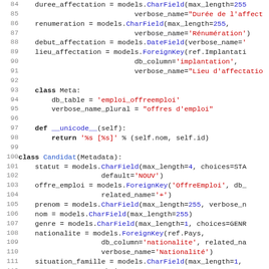[Figure (screenshot): Source code screenshot showing Python Django model definitions with syntax highlighting. Lines 84-115 visible. Code includes OffreEmploi model fields (duree_affectation, renumeration, debut_affectation, lieu_affectation, Meta class, __unicode__ method) and Candidat class definition with fields (statut, offre_emploi, prenom, nom, genre, nationalite, situation_famille, nombre_dependant).]